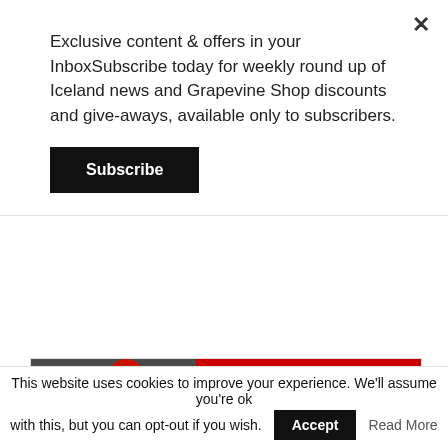Exclusive content & offers in your InboxSubscribe today for weekly round up of Iceland news and Grapevine Shop discounts and give-aways, available only to subscribers.
Subscribe
[Figure (photo): Advertisement banner showing a person in a red jacket with text 'Hiking to the eruption' and 'equipment list' on a red background]
Search for
1.  10 BEST ICELAND TRAVEL TIPS
This website uses cookies to improve your experience. We'll assume you're ok with this, but you can opt-out if you wish.
Accept
Read More